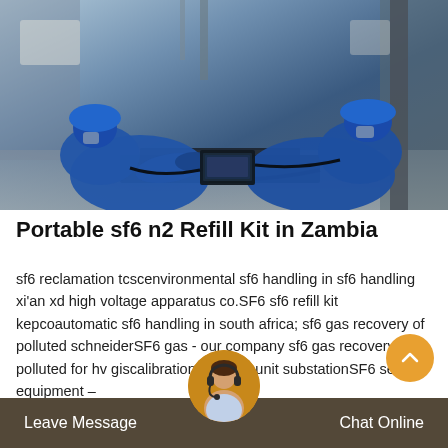[Figure (photo): Two workers in blue coveralls and blue hard hats crouching on the ground, working on equipment (possibly electrical/gas switchgear) with cables and a laptop between them, in an industrial setting.]
Portable sf6 n2 Refill Kit in Zambia
sf6 reclamation tcscenvironmental sf6 handling in sf6 handling xi'an xd high voltage apparatus co.SF6 sf6 refill kit kepcoautomatic sf6 handling in south africa; sf6 gas recovery of polluted schneiderSF6 gas - our company sf6 gas recovery of polluted for hv giscalibration b filter unit substationSF6 service equipment –
Leave Message   Chat Online